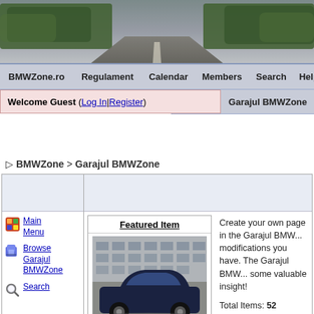[Figure (photo): Website header banner showing a blurred road/highway scene with trees and sky, typical of a motoring website]
BMWZone.ro  Regulament  Calendar  Members  Search  Help  Gallery  Garajul BMWZone
Welcome Guest ( Log In | Register )
▷ BMWZone > Garajul BMWZone
[Figure (screenshot): Colored icon for Main Menu navigation item]
Main Menu
[Figure (screenshot): Colored icon for Browse Garajul BMWZone navigation item]
Browse Garajul BMWZone
[Figure (screenshot): Magnifying glass search icon]
Search
Featured Item
[Figure (photo): Photo of a dark blue BMW 7-series (E32) car parked in front of a building]
Create your own page in the Garajul BMW... modifications you have. The Garajul BMW... some valuable insight!
Total Items: 52
Total Modifications: 0
Total Comments: 3